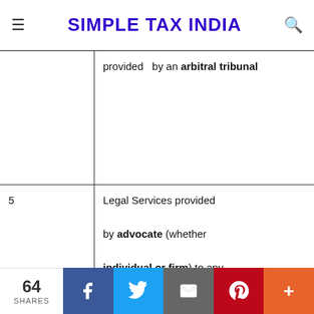SIMPLE TAX INDIA
|  |  |  |
| --- | --- | --- |
|  | provided  by an arbitral tribunal |  |
| 5 | Legal Services provided

by advocate (whether individual or firm) to any business entity | individual or fi... |